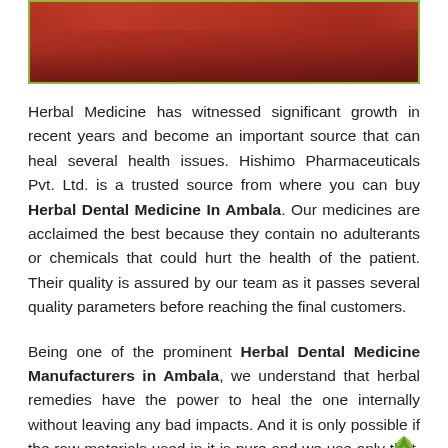[Figure (photo): Top portion of an image showing red/orange herbal medicine product with a green border frame, partially cropped at top of page.]
Herbal Medicine has witnessed significant growth in recent years and become an important source that can heal several health issues. Hishimo Pharmaceuticals Pvt. Ltd. is a trusted source from where you can buy Herbal Dental Medicine In Ambala. Our medicines are acclaimed the best because they contain no adulterants or chemicals that could hurt the health of the patient. Their quality is assured by our team as it passes several quality parameters before reaching the final customers.
Being one of the prominent Herbal Dental Medicine Manufacturers in Ambala, we understand that herbal remedies have the power to heal the one internally without leaving any bad impacts. And it is only possible if the raw materials used in it is pure and we use only that. We have